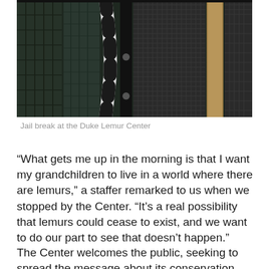[Figure (photo): Close-up photo of a lemur (showing black and white striped tail) in a cage/enclosure at the Duke Lemur Center, surrounded by dark metal cage panels and mesh fencing with wooden posts]
Jail break at the Duke Lemur Center
“What gets me up in the morning is that I want my grandchildren to live in a world where there are lemurs,” a staffer remarked to us when we stopped by the Center. “It’s a real possibility that lemurs could cease to exist, and we want to do our part to see that doesn’t happen.”
The Center welcomes the public, seeking to spread the message about its conservation efforts as well as offer